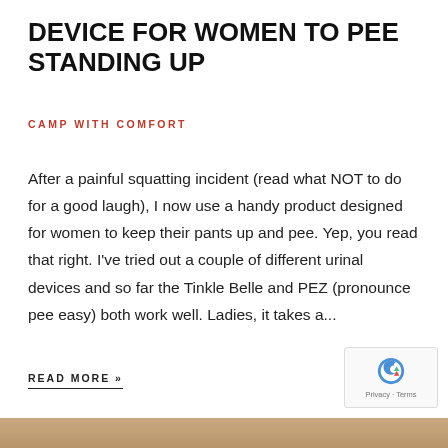DEVICE FOR WOMEN TO PEE STANDING UP
CAMP WITH COMFORT
After a painful squatting incident (read what NOT to do for a good laugh), I now use a handy product designed for women to keep their pants up and pee. Yep, you read that right. I've tried out a couple of different urinal devices and so far the Tinkle Belle and PEZ (pronounce pee easy) both work well. Ladies, it takes a...
READ MORE »
[Figure (logo): reCAPTCHA badge with Privacy and Terms text]
[Figure (photo): Partial image strip at bottom of page]